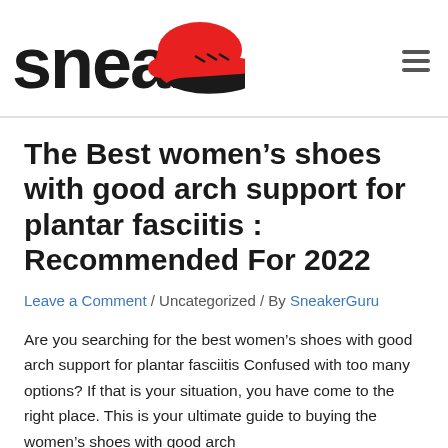sneakAR [logo with shoe illustration]
The Best women’s shoes with good arch support for plantar fasciitis : Recommended For 2022
Leave a Comment / Uncategorized / By SneakerGuru
Are you searching for the best women’s shoes with good arch support for plantar fasciitis Confused with too many options? If that is your situation, you have come to the right place. This is your ultimate guide to buying the women’s shoes with good arch